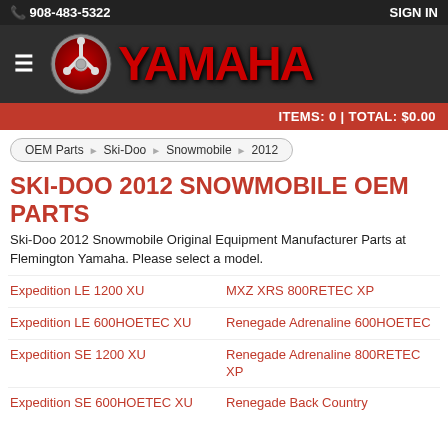908-483-5322    SIGN IN
[Figure (logo): Yamaha logo with red tuning fork emblem and red YAMAHA text on dark background]
ITEMS: 0 | TOTAL: $0.00
OEM Parts > Ski-Doo > Snowmobile > 2012
SKI-DOO 2012 SNOWMOBILE OEM PARTS
Ski-Doo 2012 Snowmobile Original Equipment Manufacturer Parts at Flemington Yamaha. Please select a model.
Expedition LE 1200 XU
MXZ XRS 800RETEC XP
Expedition LE 600HOETEC XU
Renegade Adrenaline 600HOETEC
Expedition SE 1200 XU
Renegade Adrenaline 800RETEC XP
Expedition SE 600HOETEC XU
Renegade Back Country